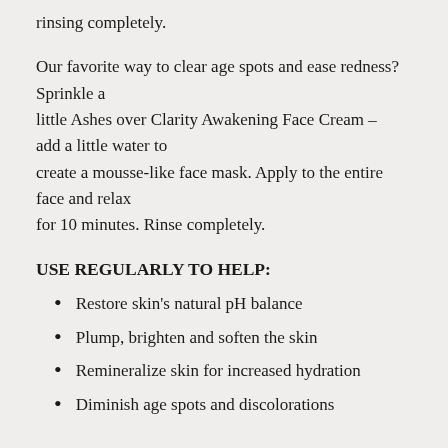rinsing completely.
Our favorite way to clear age spots and ease redness? Sprinkle a little Ashes over Clarity Awakening Face Cream – add a little water to create a mousse-like face mask. Apply to the entire face and relax for 10 minutes. Rinse completely.
USE REGULARLY TO HELP:
Restore skin's natural pH balance
Plump, brighten and soften the skin
Remineralize skin for increased hydration
Diminish age spots and discolorations